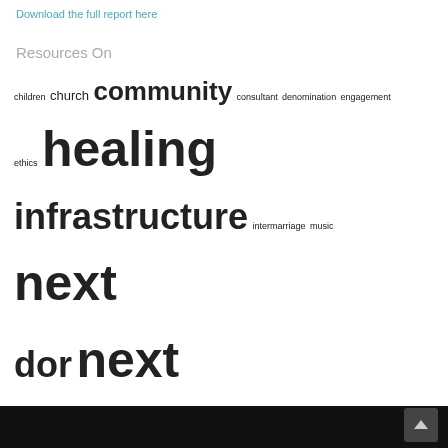Download the full report here
Resources On
children church community consultant denomination engagement ethics healing infrastructure intermarriage music next dor next generation olam orthodox passover program repair sacred study synagogue synagogue 2000 theology tikkun torah video welcoming worship